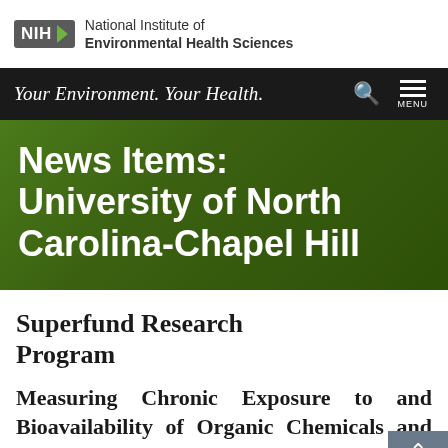[Figure (logo): NIH National Institute of Environmental Health Sciences logo with NIH badge and green arrow]
Your Environment. Your Health.
News Items: University of North Carolina-Chapel Hill
Superfund Research Program
Measuring Chronic Exposure to and Bioavailability of Organic Chemicals and their Metabolites with a Novel Universal Passive